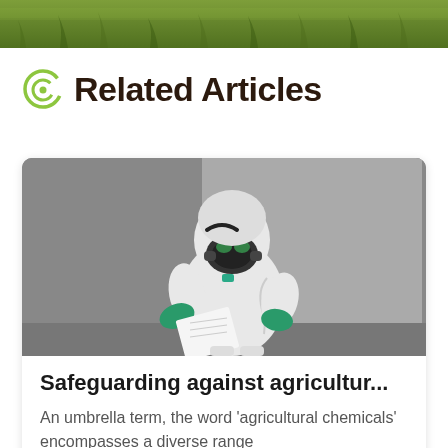[Figure (photo): Green grass field at top of page, partial view]
Related Articles
[Figure (photo): Person in white hazmat suit and green gloves with respirator mask, reading a document against a grey background]
Safeguarding against agricultur...
An umbrella term, the word 'agricultural chemicals' encompasses a diverse range